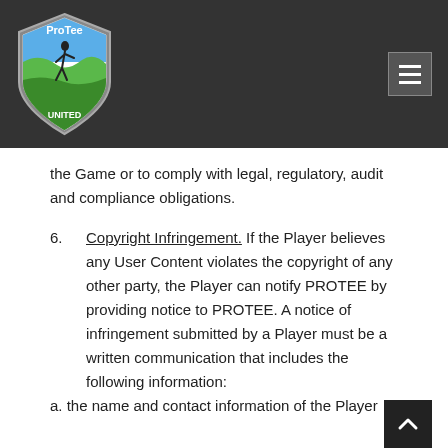[Figure (logo): ProTee United shield logo with golfer silhouette on green hills and blue sky background]
the Game or to comply with legal, regulatory, audit and compliance obligations.
6. Copyright Infringement. If the Player believes any User Content violates the copyright of any other party, the Player can notify PROTEE by providing notice to PROTEE. A notice of infringement submitted by a Player must be a written communication that includes the following information:
a. the name and contact information of the Player